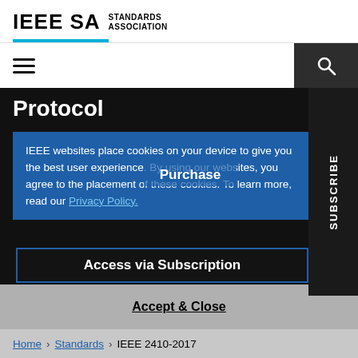IEEE SA STANDARDS ASSOCIATION
Protocol
IEEE websites place cookies on your device to give you the best user experience. By using our websites, you agree to the placement of these cookies. To learn more, read our Privacy Policy.
Purchase
Access via Subscription
Accept & Close
SUBSCRIBE
Home > Standards > IEEE 2410-2017